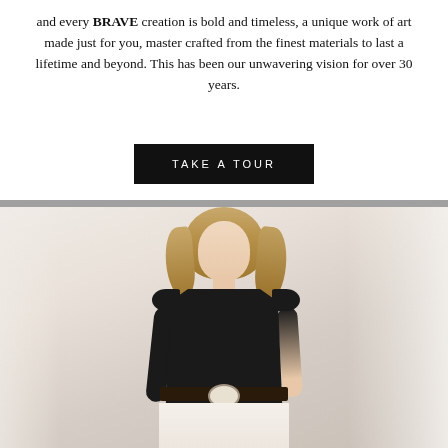and every BRAVE creation is bold and timeless, a unique work of art made just for you, master crafted from the finest materials to last a lifetime and beyond. This has been our unwavering vision for over 30 years.
[Figure (other): Black button with white uppercase text reading TAKE A TOUR]
[Figure (photo): Fashion photo of a blonde woman wearing a black sleeveless dress with a white belt, seated in a light-filled room with sheer white curtains in the background.]